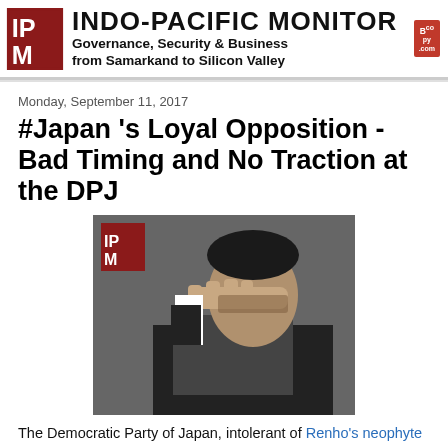INDO-PACIFIC MONITOR — Governance, Security & Business from Samarkand to Silicon Valley
Monday, September 11, 2017
#Japan 's Loyal Opposition - Bad Timing and No Traction at the DPJ
[Figure (photo): Man in dark suit shielding eyes with hand, looking into the distance, with IPM logo overlay in top left corner]
The Democratic Party of Japan, intolerant of Renho's neophyte stumbles, crawls back to mediocrity. Seiji Maehara